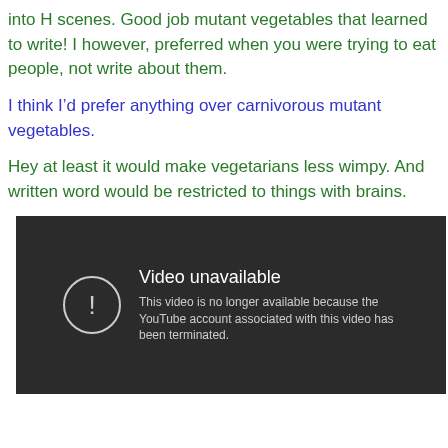into H scenes. Good job mutant vegetables that learned to write! I however, preferred when you were trying to eat people, not write about them.
I think I’d prefer anything over carnivorous mutant vegetables.
Hey at least it would make vegetarians less wimpy. And written word would be restricted to things with brains.
[Figure (screenshot): YouTube video unavailable error message on dark background. Shows a circle with exclamation mark icon and text: 'Video unavailable. This video is no longer available because the YouTube account associated with this video has been terminated.']